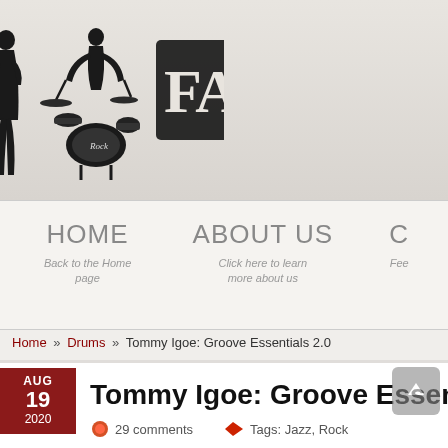[Figure (logo): Website logo with silhouette of guitarist, drum kit with 'Rock' text, and grunge text reading 'FAST' (partially visible)]
HOME   ABOUT US   C...
Back to the Home page
Click here to learn more about us
Fee...
Home » Drums » Tommy Igoe: Groove Essentials 2.0
Tommy Igoe: Groove Essentials 2.0
AUG 19 2020
29 comments   Tags: Jazz, Rock